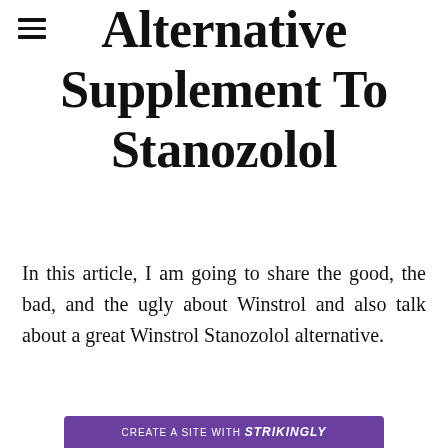Alternative Supplement To Stanozolol
In this article, I am going to share the good, the bad, and the ugly about Winstrol and also talk about a great Winstrol Stanozolol alternative.
CREATE A SITE WITH strikingly